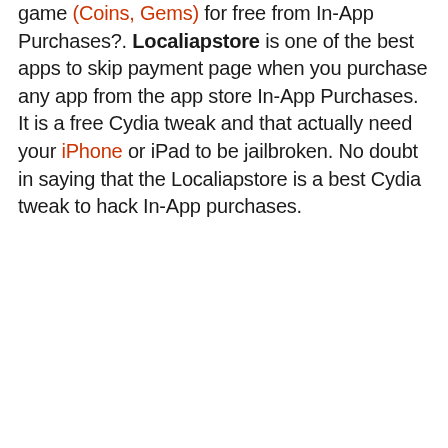game (Coins, Gems) for free from In-App Purchases?. Localiapstore is one of the best apps to skip payment page when you purchase any app from the app store In-App Purchases. It is a free Cydia tweak and that actually need your iPhone or iPad to be jailbroken. No doubt in saying that the Localiapstore is a best Cydia tweak to hack In-App purchases.